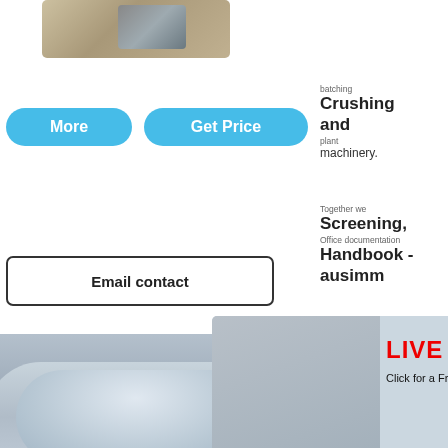[Figure (photo): Partial view of industrial crushing/grinding machine equipment at top of page]
Crushing batching and plant machinery.
[Figure (infographic): Two blue rounded-rectangle buttons: 'More' and 'Get Price']
Screening, Together we Handbook - Office documentation ausimm
[Figure (infographic): Email contact button with rounded rectangle border]
[Figure (photo): Ball mill / factory interior photo in background]
[Figure (photo): Live Chat popup overlay with workers in safety helmets, red LIVE CHAT title, 'Click for a Free Consultation' subtitle, Chat now (red) and Chat later (dark) buttons, and close X button]
[Figure (photo): Right sidebar with blue background showing 'hour online', crusher machine image, 'Click me to chat>>' button, 'Enquiry' label, and 'mumumugoods' text]
[Figure (photo): Bottom portion: construction yard / aggregate processing plant with crane and silos]